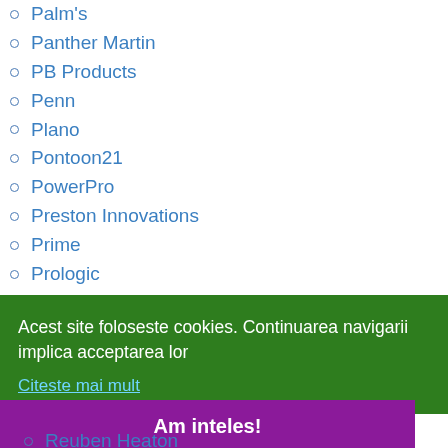Palm's
Panther Martin
PB Products
Penn
Plano
Pontoon21
PowerPro
Preston Innovations
Prime
Prologic
Prowess
Prox Inc.
q
Acest site foloseste cookies. Continuarea navigarii implica acceptarea lor
Citeste mai mult
Am inteles!
Reuben Heaton